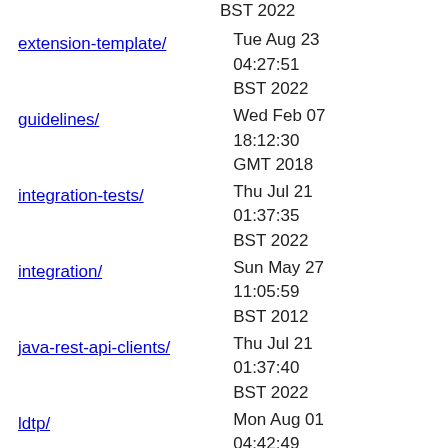BST 2022
extension-template/ | Tue Aug 23 04:27:51 BST 2022
guidelines/ | Wed Feb 07 18:12:30 GMT 2018
integration-tests/ | Thu Jul 21 01:37:35 BST 2022
integration/ | Sun May 27 11:05:59 BST 2012
java-rest-api-clients/ | Thu Jul 21 01:37:40 BST 2022
ldtp/ | Mon Aug 01 04:42:49 BST 2022
legacy-lucene/ | Fri Aug 01 00:44:16